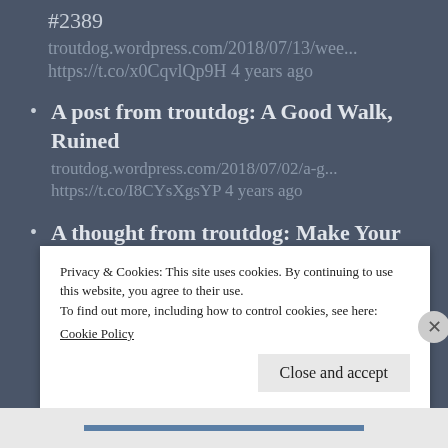#2389
troutdog.wordpress.com/2018/07/13/wee...
https://t.co/x0CqvlQp9H 4 years ago
A post from troutdog: A Good Walk, Ruined
troutdog.wordpress.com/2018/07/02/a-g...
https://t.co/I8CYsXgsYP 4 years ago
A thought from troutdog: Make Your Mark
troutdog.wordpress.com/2018/05/12/mak...
4 years ago
Privacy & Cookies: This site uses cookies. By continuing to use this website, you agree to their use.
To find out more, including how to control cookies, see here:
Cookie Policy
Close and accept